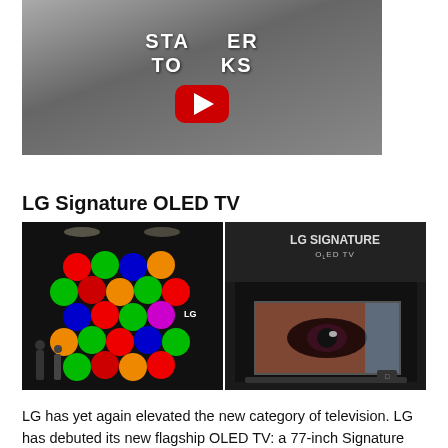[Figure (screenshot): YouTube video thumbnail showing '5 STAR TALKS' text with a YouTube play button overlay, dark indoor setting]
LG Signature OLED TV
[Figure (photo): Two photos side by side: left shows LG trade show display with colorful illuminated sphere wall panel; right shows LG Signature OLED TV display with eye close-up on screen]
LG has yet again elevated the new category of television. LG has debuted its new flagship OLED TV: a 77-inch Signature